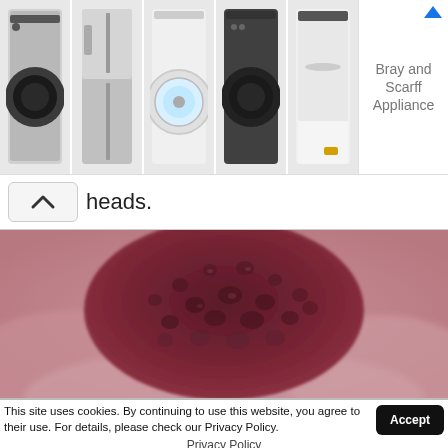[Figure (screenshot): Advertisement banner showing five home appliances (washing machines, refrigerator) with text 'Bray and Scarff Appliance' and an external link arrow icon]
heads.
[Figure (photo): Close-up macro photograph of a dark reddish-purple skin lesion or growth on pinkish skin, likely a medical dermatology image]
This site uses cookies. By continuing to use this website, you agree to their use. For details, please check our Privacy Policy.
Accept
Privacy Policy